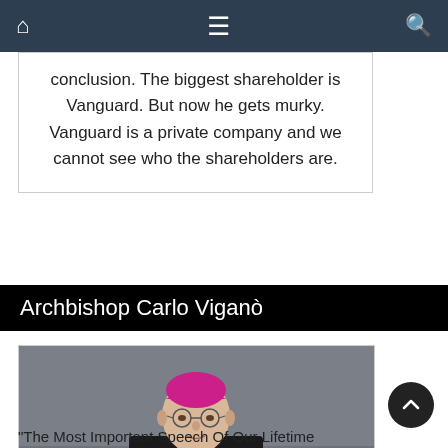Navigation bar with home, menu, and search icons
conclusion. The biggest shareholder is Vanguard. But now he gets murky. Vanguard is a private company and we cannot see who the shareholders are.
Archbishop Carlo Viganò
[Figure (photo): Portrait photo of Archbishop Carlo Viganò wearing black clerical robes, red piping, white collar, pectoral cross, and pink/magenta zucchetto (skullcap), standing in front of a stone building.]
"The Most Important Speech Of Our Lifetime